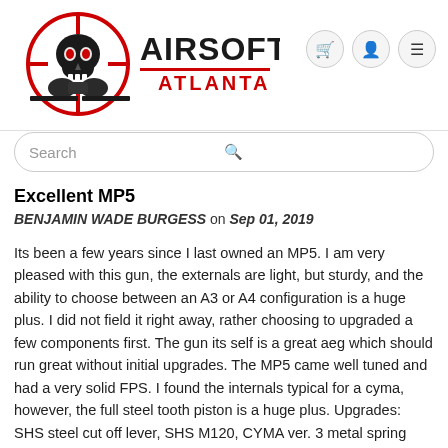[Figure (logo): Airsoft Atlanta logo with skull and crosshairs graphic, red and black with text AIRSOFT ATLANTA]
Search
Excellent MP5
BENJAMIN WADE BURGESS on Sep 01, 2019
Its been a few years since I last owned an MP5. I am very pleased with this gun, the externals are light, but sturdy, and the ability to choose between an A3 or A4 configuration is a huge plus. I did not field it right away, rather choosing to upgraded a few components first. The gun its self is a great aeg which should run great without initial upgrades. The MP5 came well tuned and had a very solid FPS. I found the internals typical for a cyma, however, the full steel tooth piston is a huge plus. Upgrades: SHS steel cut off lever, SHS M120, CYMA ver. 3 metal spring guide, MOSFET, ASG Infinite U-3500 motor, and a Krytac bucking. After shimming and correcting the AOE, my MP5 will pump out 25 RPS